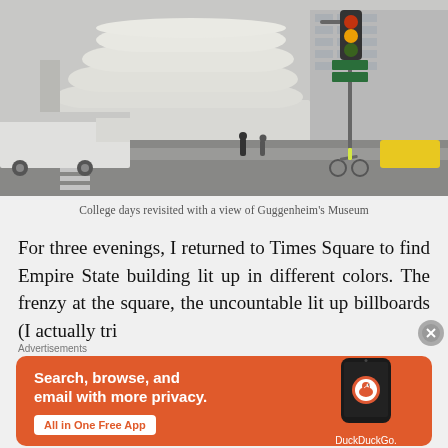[Figure (photo): Street-level photograph of the Guggenheim Museum in New York City. The distinctive spiral white concrete building is visible on the left, with a busy street, pedestrians, a truck, bicyclist, and traffic lights in the foreground. Taller buildings are visible in the background on the right.]
College days revisited with a view of Guggenheim's Museum
For three evenings, I returned to Times Square to find Empire State building lit up in different colors. The frenzy at the square, the uncountable lit up billboards (I actually tri…
[Figure (other): DuckDuckGo advertisement banner with orange background. Text reads: 'Search, browse, and email with more privacy. All in One Free App'. Shows a smartphone with the DuckDuckGo app and logo on the right side.]